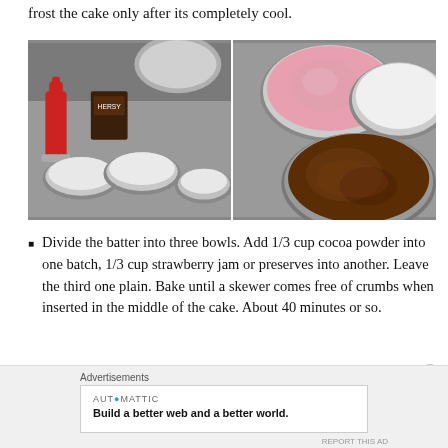frost the cake only after its completely cool.
[Figure (photo): Two side-by-side photos: left shows three round cake pans with white batter on a grey surface with red and brown bottles/jars; right shows three round pans with pink frosting, white frosting, and chocolate batter viewed from above.]
Divide the batter into three bowls. Add 1/3 cup cocoa powder into one batch, 1/3 cup strawberry jam or preserves into another. Leave the third one plain. Bake until a skewer comes free of crumbs when inserted in the middle of the cake. About 40 minutes or so.
Advertisements
AUTOMATTIC
Build a better web and a better world.